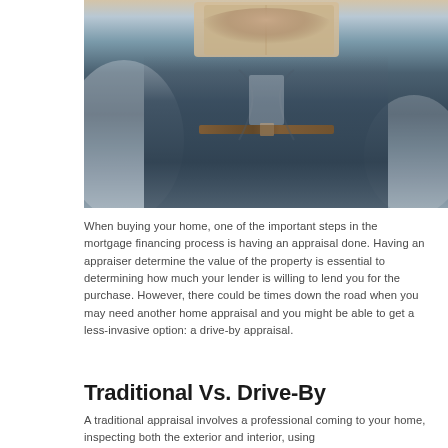[Figure (photo): A person in a blue blazer holding or carrying boxes/documents, viewed from the torso down, with a light background suggesting an interior space.]
When buying your home, one of the important steps in the mortgage financing process is having an appraisal done. Having an appraiser determine the value of the property is essential to determining how much your lender is willing to lend you for the purchase. However, there could be times down the road when you may need another home appraisal and you might be able to get a less-invasive option: a drive-by appraisal.
Traditional Vs. Drive-By
A traditional appraisal involves a professional coming to your home, inspecting both the exterior and interior, using